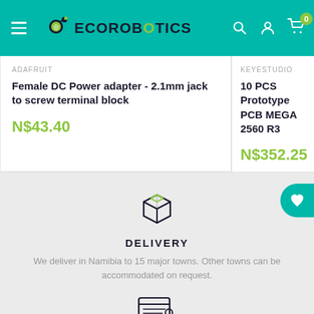ECOROBOTICS
ADAFRUIT
Female DC Power adapter - 2.1mm jack to screw terminal block
N$43.40
KEYESTUDIO
10 PCS Prototype PCB MEGA 2560 R3
N$352.25
[Figure (illustration): Package/box delivery icon outline]
DELIVERY
We deliver in Namibia to 15 major towns. Other towns can be accommodated on request.
[Figure (illustration): Secure payment / credit card with lock icon]